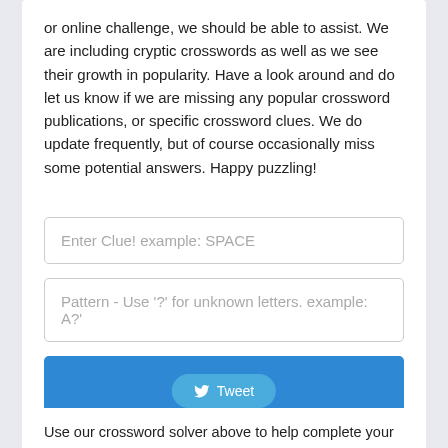or online challenge, we should be able to assist. We are including cryptic crosswords as well as we see their growth in popularity. Have a look around and do let us know if we are missing any popular crossword publications, or specific crossword clues. We do update frequently, but of course occasionally miss some potential answers. Happy puzzling!
[Figure (screenshot): A crossword solver form with two input fields: 'Enter Clue! example: SPACE' and 'Pattern - Use ? for unknown letters. example: A?' and a blue 'Solve!' button]
[Figure (screenshot): A blue Twitter Tweet button with bird icon]
Use our crossword solver above to help complete your crossword grid! Solving a crossword puzzle can be difficult